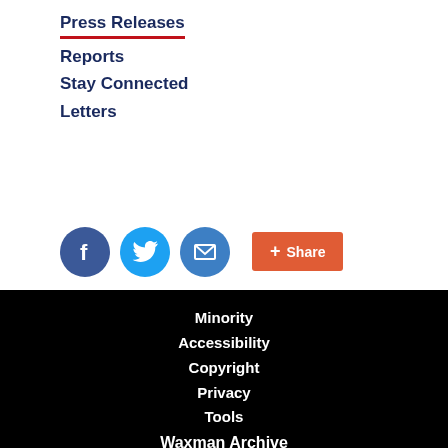Press Releases
Reports
Stay Connected
Letters
[Figure (infographic): Social sharing icons: Facebook (blue circle), Twitter (blue circle), Email (blue circle), and an orange Share button with a plus icon]
Minority
Accessibility
Copyright
Privacy
Tools
Waxman Archive
Towns Archive
Report Waste, Fraud, or Abuse